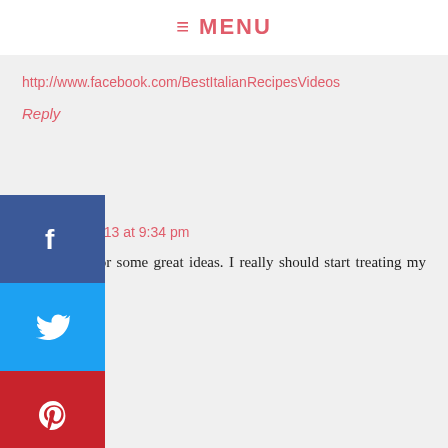≡ MENU
http://www.facebook.com/BestItalianRecipesVideos
Reply
Sarah says
March 11, 2013 at 9:34 pm
Thank you for some great ideas. I really should start treating my body better.
Reply